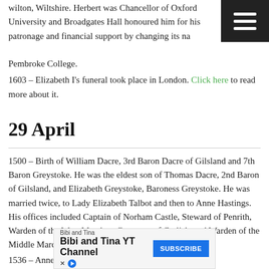Wilton, Wiltshire. Herbert was Chancellor of Oxford University and Broadgates Hall honoured him for his patronage and financial support by changing its name to Pembroke College.
1603 – Elizabeth I's funeral took place in London. Click here to read more about it.
29 April
1500 – Birth of William Dacre, 3rd Baron Dacre of Gilsland and 7th Baron Greystoke. He was the eldest son of Thomas Dacre, 2nd Baron of Gilsland, and Elizabeth Greystoke, Baroness Greystoke. He was married twice, to Lady Elizabeth Talbot and then to Anne Hastings. His offices included Captain of Norham Castle, Steward of Penrith, Warden of the West Marches, Governor of Carlisle and Warden of the Middle Marches. He died on 18th November 1563.
1536 – Anne Boleyn argued with Sir Henry Norris,
[Figure (other): Advertisement banner for 'Bibi and Tina YT Channel' with a blue Subscribe button and social media icons]